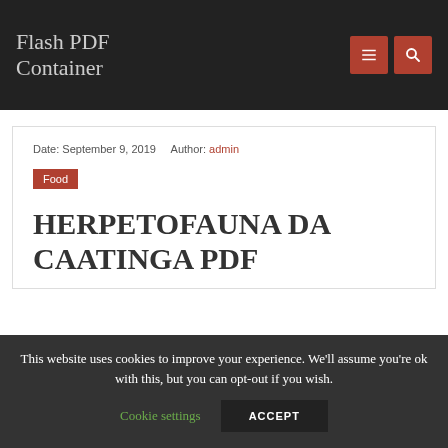Flash PDF Container
Date: September 9, 2019   Author: admin
Food
HERPETOFAUNA DA CAATINGA PDF
This website uses cookies to improve your experience. We'll assume you're ok with this, but you can opt-out if you wish.
Cookie settings   ACCEPT